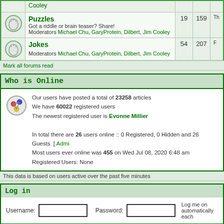| Icon | Forum | Posts | Topics | Last Post |
| --- | --- | --- | --- | --- |
| [icon] | Puzzles
Got a riddle or brain teaser? Share!
Moderators Michael Chu, GaryProtein, Dilbert, Jim Cooley | 19 | 159 | Th... |
| [icon] | Jokes
Moderators Michael Chu, GaryProtein, Dilbert, Jim Cooley | 54 | 207 | F... |
Mark all forums read
Who is Online
Our users have posted a total of 23258 articles
We have 60022 registered users
The newest registered user is Evonne Millier
In total there are 26 users online :: 0 Registered, 0 Hidden and 26 Guests  [ Admi...
Most users ever online was 455 on Wed Jul 08, 2020 6:48 am
Registered Users: None
This data is based on users active over the past five minutes
Log in
Username:  Password:  Log me on automatically each
New posts  No new posts  Forum is lo
Powered by phpBB © 2001, 2005 phpBB Group